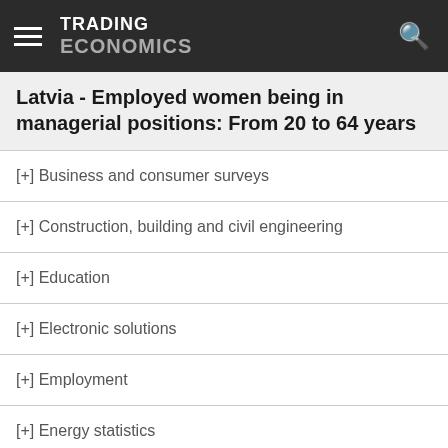TRADING ECONOMICS
Latvia - Employed women being in managerial positions: From 20 to 64 years
[+] Business and consumer surveys
[+] Construction, building and civil engineering
[+] Education
[+] Electronic solutions
[+] Employment
[+] Energy statistics
[+] Final consumption expenditure of households and NPISH
[+] Financial sector liabilities